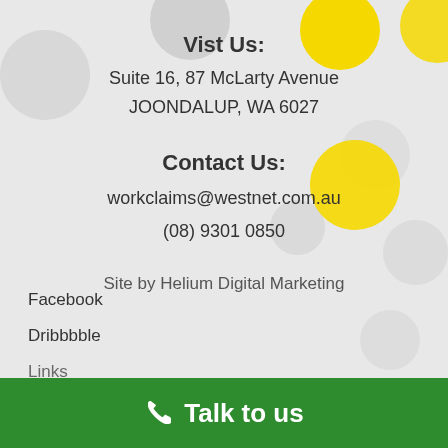Vist Us:
Suite 16, 87 McLarty Avenue
JOONDALUP, WA 6027
Contact Us:
workclaims@westnet.com.au
(08) 9301 0850
Site by Helium Digital Marketing
Facebook
Dribbbble
Links
Talk to us